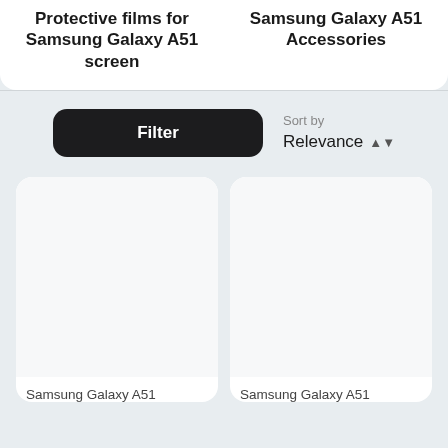Protective films for Samsung Galaxy A51 screen
Samsung Galaxy A51 Accessories
Filter
Sort by
Relevance
[Figure (screenshot): Product card placeholder (left) — white rounded card with empty image area]
[Figure (screenshot): Product card placeholder (right) — white rounded card with empty image area]
Samsung Galaxy A51
Samsung Galaxy A51